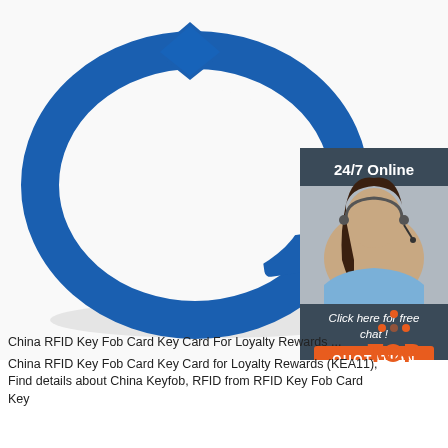[Figure (photo): Blue silicone RFID wristband/bracelet with a diamond-shaped chip area at the top and adjustment holes along the strap, shown on white background. An overlay panel on the right shows a customer service agent with headset, text '24/7 Online', 'Click here for free chat!', and an orange QUOTATION button.]
[Figure (logo): Red and orange 'TOP' badge with dot-triangle icon above the text]
China RFID Key Fob Card Key Card For Loyalty Rewards ...
China RFID Key Fob Card Key Card for Loyalty Rewards (KEA11), Find details about China Keyfob, RFID from RFID Key Fob Card Key